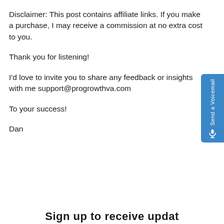Disclaimer: This post contains affiliate links. If you make a purchase, I may receive a commission at no extra cost to you.
Thank you for listening!
I'd love to invite you to share any feedback or insights with me support@progrowthva.com
To your success!
Dan
[Figure (other): Blue vertical sidebar button labeled 'Send a Voicemail' with a microphone icon]
Sign up to receive updates